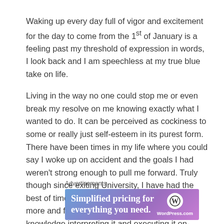Waking up every day full of vigor and excitement for the day to come from the 1st of January is a feeling past my threshold of expression in words, I look back and I am speechless at my true blue take on life.
Living in the way no one could stop me or even break my resolve on me knowing exactly what I wanted to do. It can be perceived as cockiness to some or really just self-esteem in its purest form. There have been times in my life where you could say I woke up on accident and the goals I had weren't strong enough to pull me forward. Truly though since exiting University, I have had the best of times living life like I want to, learning more and faster than before gathering the knowledge interpreting it and executing it on-pointe revs me up so much for the year to come.
Advertisements
[Figure (other): WordPress.com advertisement banner with purple-blue gradient background. Text reads 'Simplified pricing for everything you need.' with WordPress.com logo on right side.]